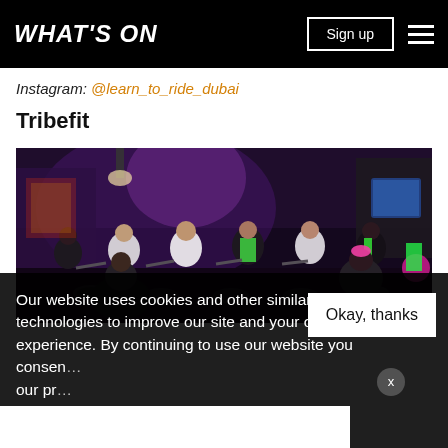WHAT'S ON | Sign up
Instagram: @learn_to_ride_dubai
Tribefit
[Figure (photo): Indoor cycling / spinning class in a dark studio with neon/UV lighting. Multiple riders on stationary bikes wearing workout clothes, some with neon accessories. Colorful murals visible in the background with stage lighting.]
Our website uses cookies and other similar technologies to improve our site and your online experience. By continuing to use our website you consent ... our pr...